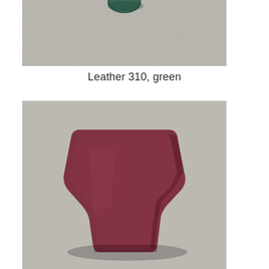[Figure (photo): Partial view of a green leather piece on a grey textured background, cropped at top of page]
Leather 310, green
[Figure (photo): A dark red/maroon suede leather piece shaped like a trapezoid/shield, placed on a grey textured background]